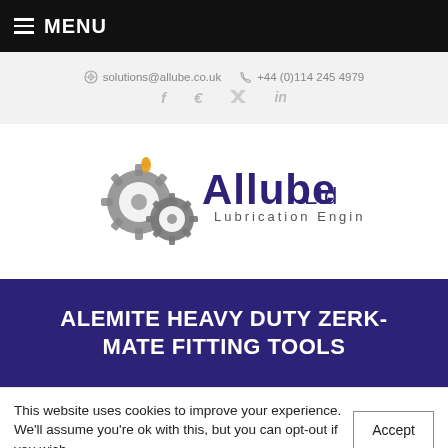MENU
solutions@allube.co.uk   +44 (0)114 245 4979
[Figure (logo): Allube Ltd Lubrication Engineering logo with interlocking gears and oil drop]
ALEMITE HEAVY DUTY ZERK-MATE FITTING TOOLS
This website uses cookies to improve your experience. We'll assume you're ok with this, but you can opt-out if you wish.